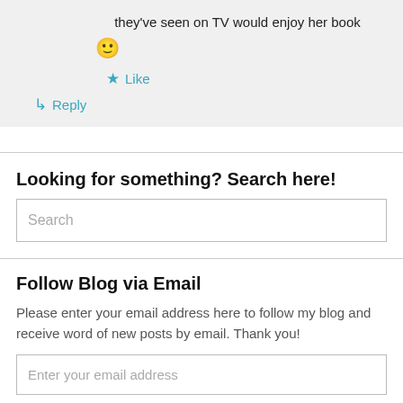they've seen on TV would enjoy her book
🙂
★ Like
↳ Reply
Looking for something? Search here!
Search
Follow Blog via Email
Please enter your email address here to follow my blog and receive word of new posts by email. Thank you!
Enter your email address